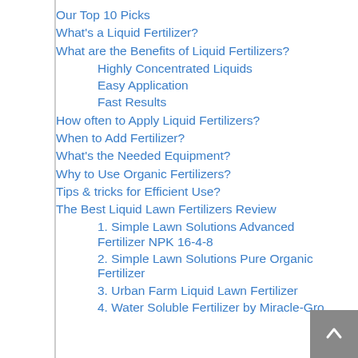Our Top 10 Picks
What's a Liquid Fertilizer?
What are the Benefits of Liquid Fertilizers?
Highly Concentrated Liquids
Easy Application
Fast Results
How often to Apply Liquid Fertilizers?
When to Add Fertilizer?
What's the Needed Equipment?
Why to Use Organic Fertilizers?
Tips & tricks for Efficient Use?
The Best Liquid Lawn Fertilizers Review
1. Simple Lawn Solutions Advanced Fertilizer NPK 16-4-8
2. Simple Lawn Solutions Pure Organic Fertilizer
3. Urban Farm Liquid Lawn Fertilizer
4. Water Soluble Fertilizer by Miracle-Gro